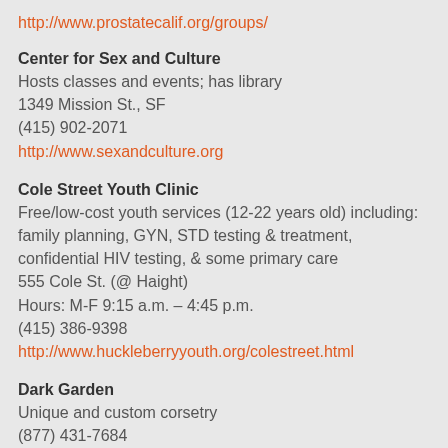http://www.prostatecalif.org/groups/
Center for Sex and Culture
Hosts classes and events; has library
1349 Mission St., SF
(415) 902-2071
http://www.sexandculture.org
Cole Street Youth Clinic
Free/low-cost youth services (12-22 years old) including: family planning, GYN, STD testing & treatment, confidential HIV testing, & some primary care
555 Cole St. (@ Haight)
Hours: M-F 9:15 a.m. – 4:45 p.m.
(415) 386-9398
http://www.huckleberryyouth.org/colestreet.html
Dark Garden
Unique and custom corsetry
(877) 431-7684
http://www.darkgarden.com